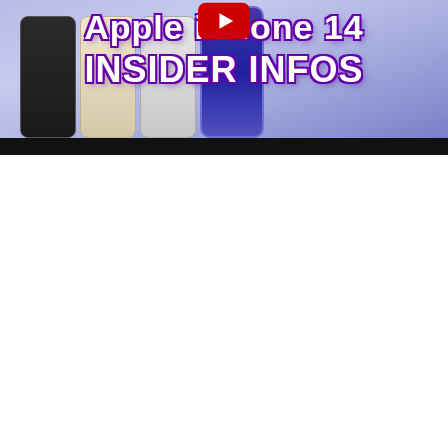[Figure (screenshot): YouTube video thumbnail for 'Apple iPhone 14 INSIDER INFOS'. Shows multiple iPhone 14 models (black, gold, silver, deep purple) lined up, with large bold white text overlaid on a light purple/lavender background. A YouTube play button icon is visible in the upper center. A black bar runs along the bottom of the thumbnail.]